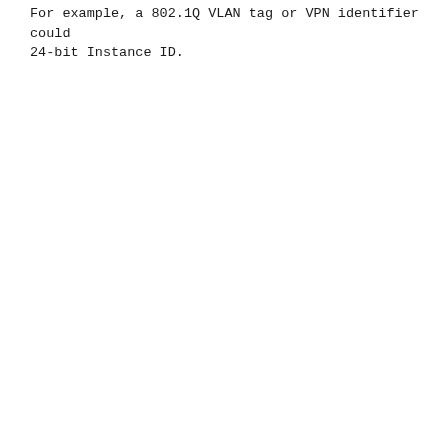For example, a 802.1Q VLAN tag or VPN identifier could 24-bit Instance ID.